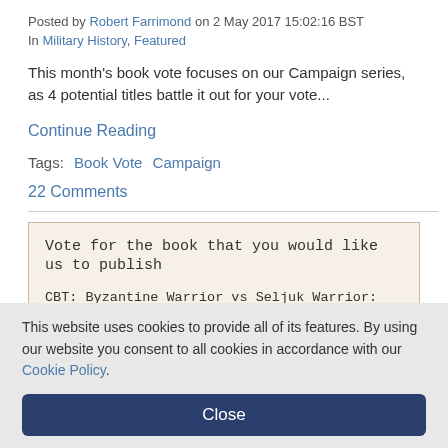Posted by Robert Farrimond on 2 May 2017 15:02:16 BST
In Military History, Featured
This month's book vote focuses on our Campaign series, as 4 potential titles battle it out for your vote...
Continue Reading
Tags:  Book Vote  Campaign
22 Comments
Vote for the book that you would like us to publish
CBT: Byzantine Warrior vs Seljuk Warrior: 1068-71: 29.22%
CBT: English Men-at-Arms vs French Men-at-Arms: France...
This website uses cookies to provide all of its features. By using our website you consent to all cookies in accordance with our Cookie Policy.
Close